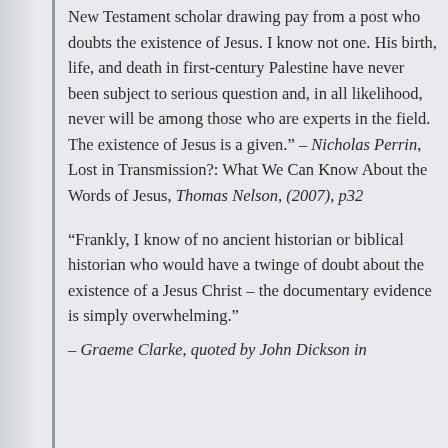New Testament scholar drawing pay from a post who doubts the existence of Jesus. I know not one. His birth, life, and death in first-century Palestine have never been subject to serious question and, in all likelihood, never will be among those who are experts in the field. The existence of Jesus is a given.” – Nicholas Perrin, Lost in Transmission?: What We Can Know About the Words of Jesus, Thomas Nelson, (2007), p32
“Frankly, I know of no ancient historian or biblical historian who would have a twinge of doubt about the existence of a Jesus Christ – the documentary evidence is simply overwhelming.” – Graeme Clarke, quoted by John Dickson in